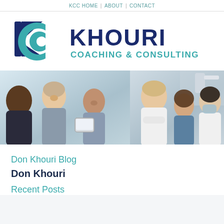KCC HOME | ABOUT | CONTACT
[Figure (logo): Khouri Coaching & Consulting logo with KCC icon on left and KHOURI / COACHING & CONSULTING text on right]
[Figure (photo): Banner with two photos: left shows business professionals in a meeting, right shows medical/dental professionals smiling]
Don Khouri Blog
Don Khouri
Recent Posts